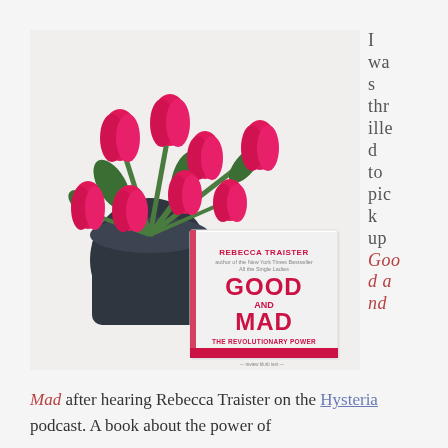[Figure (photo): Photo of the book 'Good and Mad' by Rebecca Traister, with subtitle 'The Revolutionary Power of Women's Anger', placed next to a black vase with bright pink/magenta tulips, on a white background.]
I was thrilled to pick up Good and Mad
Mad after hearing Rebecca Traister on the Hysteria podcast. A book about the power of